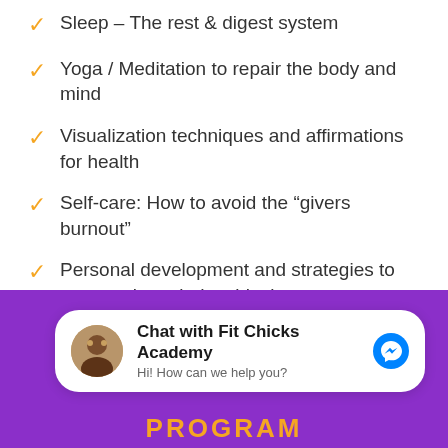Sleep – The rest & digest system
Yoga / Meditation to repair the body and mind
Visualization techniques and affirmations for health
Self-care: How to avoid the “givers burnout”
Personal development and strategies to overcoming mindset block
Chat with Fit Chicks Academy
Hi! How can we help you?
PROGRAM